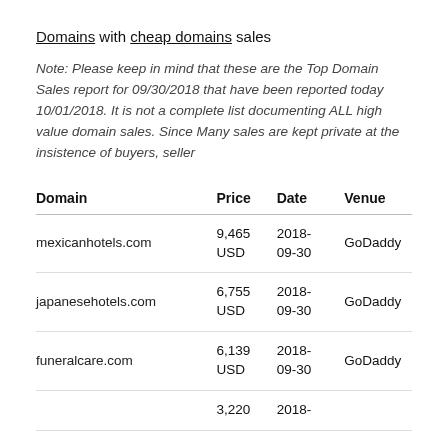Domains with cheap domains sales
Note: Please keep in mind that these are the Top Domain Sales report for 09/30/2018 that have been reported today 10/01/2018. It is not a complete list documenting ALL high value domain sales. Since Many sales are kept private at the insistence of buyers, seller
| Domain | Price | Date | Venue |
| --- | --- | --- | --- |
| mexicanhotels.com | 9,465 USD | 2018-09-30 | GoDaddy |
| japanesehotels.com | 6,755 USD | 2018-09-30 | GoDaddy |
| funeralcare.com | 6,139 USD | 2018-09-30 | GoDaddy |
|  | 3,220 | 2018- |  |